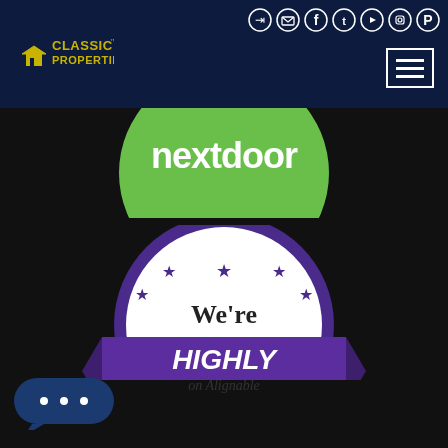[Figure (logo): Classic Properties logo in yellow on dark navy background]
[Figure (screenshot): Nextdoor green logo badge partially visible at top]
[Figure (logo): Alignable Highly Recommended by Locals badge - circular badge with purple ribbon banner and stars]
[Figure (other): Chat bubble icon in navy blue pill shape at bottom left]